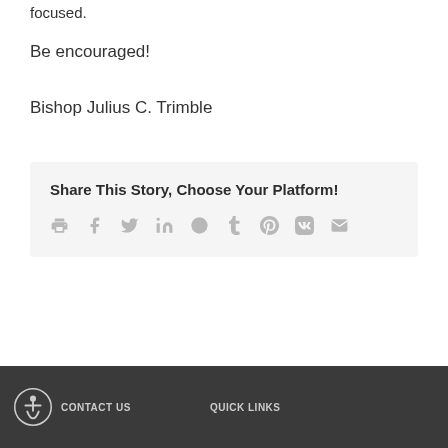focused.
Be encouraged!
Bishop Julius C. Trimble
Share This Story, Choose Your Platform!
Social sharing icons: print, facebook, twitter, linkedin, reddit, tumblr, pinterest, vk, email
CONTACT US   QUICK LINKS